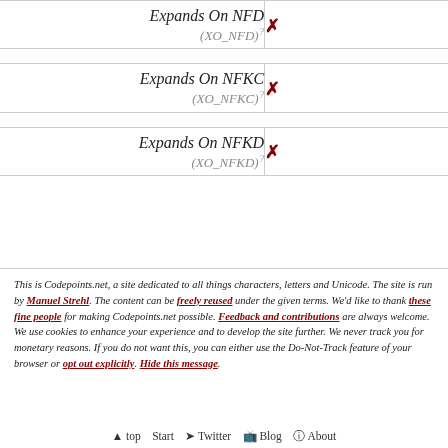| Property | Value |
| --- | --- |
| Expands On NFD (XO_NFD) | ✗ |
| Expands On NFKC (XO_NFKC) | ✗ |
| Expands On NFKD (XO_NFKD) | ✗ |
This is Codepoints.net, a site dedicated to all things characters, letters and Unicode. The site is run by Manuel Strehl. The content can be freely reused under the given terms. We'd like to thank these fine people for making Codepoints.net possible. Feedback and contributions are always welcome. We use cookies to enhance your experience and to develop the site further. We never track you for monetary reasons. If you do not want this, you can either use the Do-Not-Track feature of your browser or opt out explicitly. Hide this message.
▲ top   Start   🐦 Twitter   📋 Blog   ℹ About